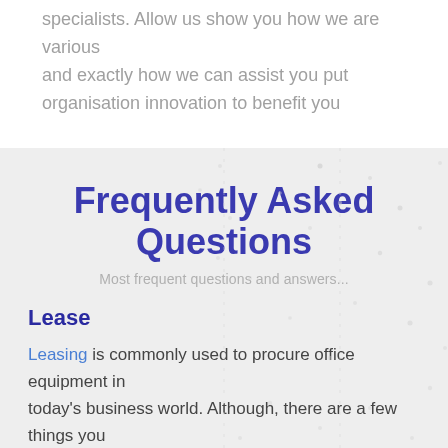specialists. Allow us show you how we are various and exactly how we can assist you put organisation innovation to benefit you
Frequently Asked Questions
Most frequent questions and answers...
Lease
Leasing is commonly used to procure office equipment in today's business world. Although, there are a few things you